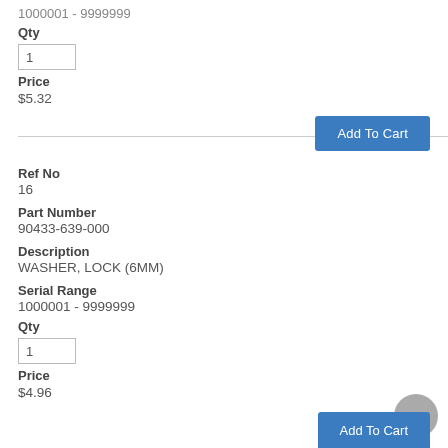1000001 - 9999999
Qty
1
Price
$5.32
Add To Cart
Ref No
16
Part Number
90433-639-000
Description
WASHER, LOCK (6MM)
Serial Range
1000001 - 9999999
Qty
1
Price
$4.96